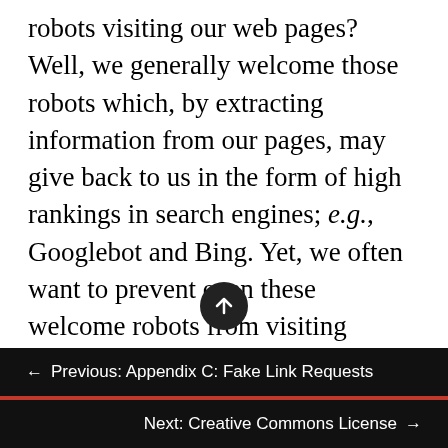robots visiting our web pages? Well, we generally welcome those robots which, by extracting information from our pages, may give back to us in the form of high rankings in search engines; e.g., Googlebot and Bing. Yet, we often want to prevent even these welcome robots from visiting certain sections of our web site or specific types of information. For instance, we might have a set of web pages which are exclusively for administrative use and we do not want them to be advertised to the rest of the world. It may be fine to have these pages exposed to the world for some time without enforcing authentication protocols,
← Previous: Appendix C: Fake Link Requests
Next: Creative Commons License →